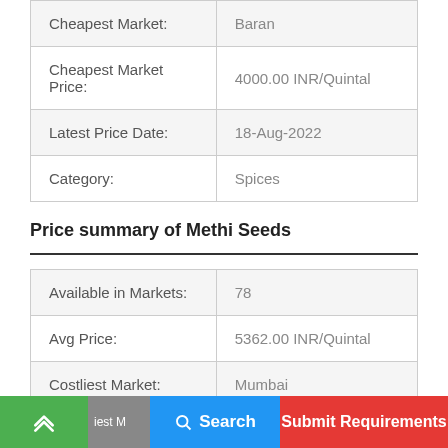| Cheapest Market: | Baran |
| Cheapest Market Price: | 4000.00 INR/Quintal |
| Latest Price Date: | 18-Aug-2022 |
| Category: | Spices |
Price summary of Methi Seeds
| Available in Markets: | 78 |
| Avg Price: | 5362.00 INR/Quintal |
| Costliest Market: | Mumbai |